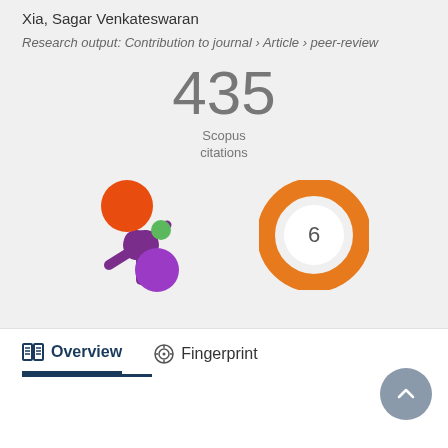Xia, Sagar Venkateswaran
Research output: Contribution to journal › Article › peer-review
435 Scopus citations
[Figure (logo): Altmetric donut logo - colorful splatter icon with orange, green, and purple circles]
[Figure (donut-chart): Orange donut chart showing the number 6 in the center]
Overview
Fingerprint